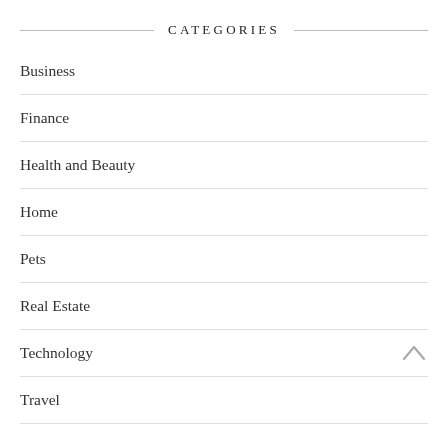CATEGORIES
Business
Finance
Health and Beauty
Home
Pets
Real Estate
Technology
Travel